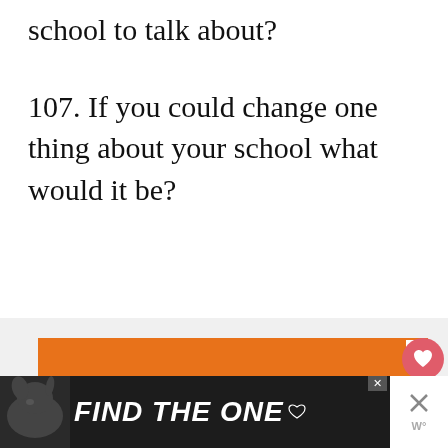school to talk about?
107. If you could change one thing about your school what would it be?
[Figure (screenshot): Orange advertisement banner: 'You can help hungry kids.' with No Kid Hungry logo and LEARN HOW button]
[Figure (screenshot): Dark advertisement banner at bottom: 'FIND THE ONE' with dog image]